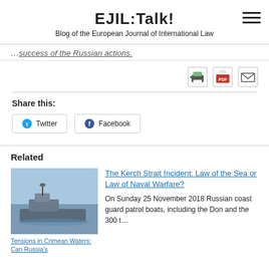EJIL:Talk! — Blog of the European Journal of International Law
…success of the Russian actions.
[Figure (infographic): Print, PDF, and Email share icons]
Share this:
Twitter | Facebook
Related
[Figure (photo): A warship (destroyer) at sea – thumbnail for 'Tensions in Crimean Waters: Can Russia's...']
Tensions in Crimean Waters: Can Russia's
The Kerch Strait Incident: Law of the Sea or Law of Naval Warfare?
On Sunday 25 November 2018 Russian coast guard patrol boats, including the Don and the 300 t…